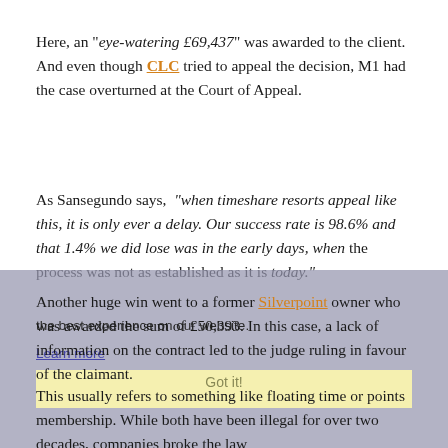Here, an "eye-watering £69,437" was awarded to the client. And even though CLC tried to appeal the decision, M1 had the case overturned at the Court of Appeal.
As Sansegundo says, "when timeshare resorts appeal like this, it is only ever a delay. Our success rate is 98.6% and that 1.4% we did lose was in the early days, when the process was not as established as it is today."
Another huge win went to a former Silverpoint owner who was awarded the sum of £50,393. In this case, a lack of information on the contract led to the judge ruling in favour of the claimant.
This usually refers to something like floating time or points membership. While both have been illegal for over two decades, companies broke the law